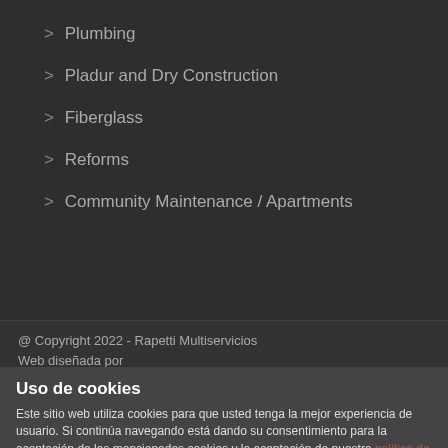> Plumbing
> Pladur and Dry Construction
> Fiberglass
> Reforms
> Community Maintenance / Apartments
@ Copyright 2022 - Rapetti Multiservicios
Web diseñada por
Marketing es Más
Uso de cookies
Este sitio web utiliza cookies para que usted tenga la mejor experiencia de usuario. Si continúa navegando está dando su consentimiento para la aceptación de las mencionadas cookies y la aceptación de nuestra política de cookies, pinche el enlace para mayor información.
ACEPTAR
pluging cookies